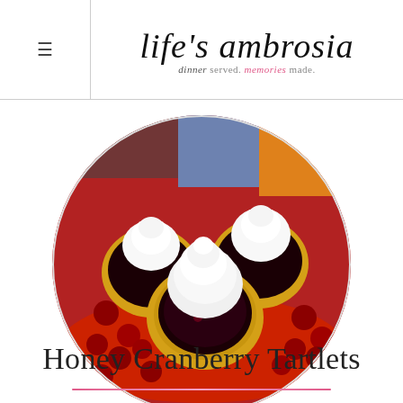life's ambrosia — dinner served. memories made.
[Figure (photo): Circular cropped photo of honey cranberry tartlets — three small pastry tarts with fluted golden crusts filled with dark cranberry filling and topped with swirled whipped cream, displayed on a red plate surrounded by fresh cranberries.]
Honey Cranberry Tartlets